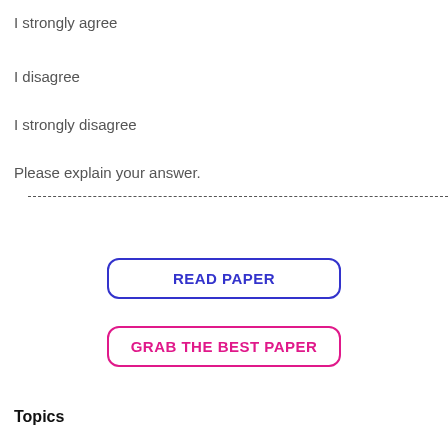I strongly agree
I disagree
I strongly disagree
Please explain your answer.
[Figure (other): READ PAPER button with blue border and text]
[Figure (other): GRAB THE BEST PAPER button with pink/magenta border and text]
Topics